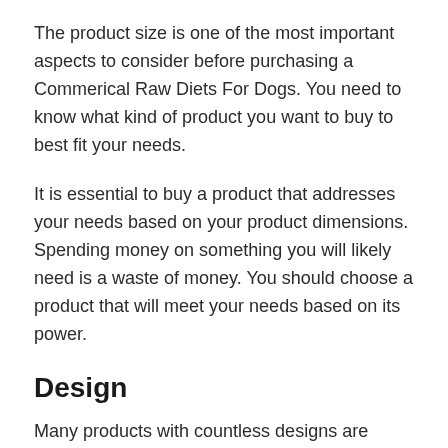The product size is one of the most important aspects to consider before purchasing a Commerical Raw Diets For Dogs. You need to know what kind of product you want to buy to best fit your needs.
It is essential to buy a product that addresses your needs based on your product dimensions. Spending money on something you will likely need is a waste of money. You should choose a product that will meet your needs based on its power.
Design
Many products with countless designs are available in the market. Some designs are...